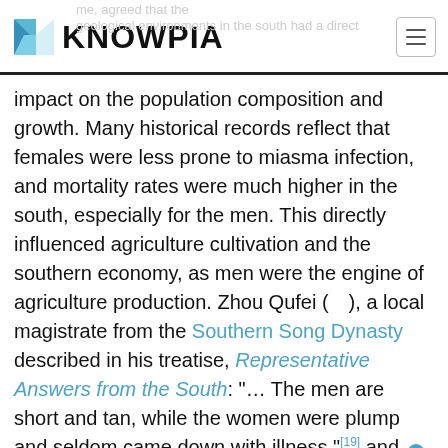KNOWPIA
impact on the population composition and growth. Many historical records reflect that females were less prone to miasma infection, and mortality rates were much higher in the south, especially for the men. This directly influenced agriculture cultivation and the southern economy, as men were the engine of agriculture production. Zhou Qufei (　), a local magistrate from the Southern Song Dynasty described in his treatise, Representative Answers from the South: "… The men are short and tan, while the women were plump and seldom came down with illness,"[19] and exclaimed at the populous female population in the Guangxi region.
This inherent environmental threat also prevented